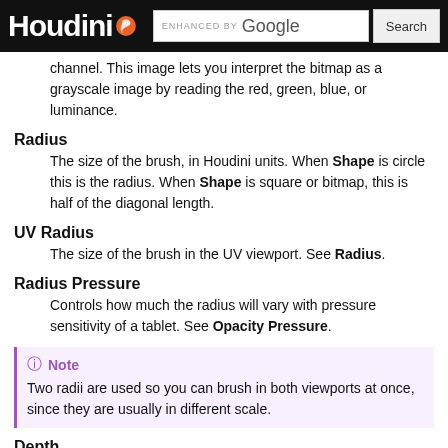Houdini | ENHANCED BY Google | Search
channel. This image lets you interpret the bitmap as a grayscale image by reading the red, green, blue, or luminance.
Radius
The size of the brush, in Houdini units. When Shape is circle this is the radius. When Shape is square or bitmap, this is half of the diagonal length.
UV Radius
The size of the brush in the UV viewport. See Radius.
Radius Pressure
Controls how much the radius will vary with pressure sensitivity of a tablet. See Opacity Pressure.
Note
Two radii are used so you can brush in both viewports at once, since they are usually in different scale.
Depth